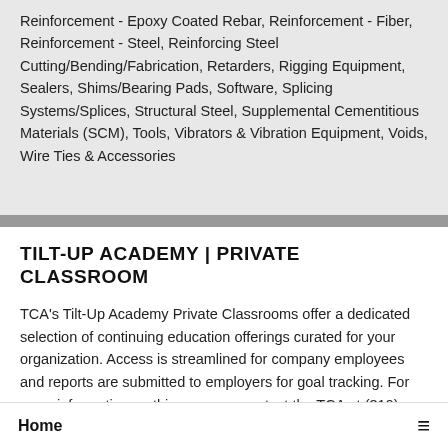Reinforcement - Epoxy Coated Rebar, Reinforcement - Fiber, Reinforcement - Steel, Reinforcing Steel Cutting/Bending/Fabrication, Retarders, Rigging Equipment, Sealers, Shims/Bearing Pads, Software, Splicing Systems/Splices, Structural Steel, Supplemental Cementitious Materials (SCM), Tools, Vibrators & Vibration Equipment, Voids, Wire Ties & Accessories
TILT-UP ACADEMY | PRIVATE CLASSROOM
TCA's Tilt-Up Academy Private Classrooms offer a dedicated selection of continuing education offerings curated for your organization. Access is streamlined for company employees and reports are submitted to employers for goal tracking. For more information on this program, contact the TCA at (319) 360-8738 or
Home ☰